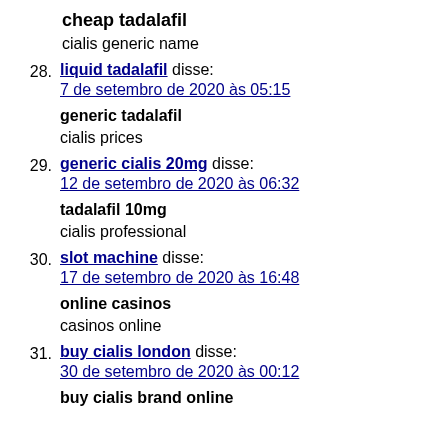cheap tadalafil
cialis generic name
28. liquid tadalafil disse:
7 de setembro de 2020 às 05:15
generic tadalafil
cialis prices
29. generic cialis 20mg disse:
12 de setembro de 2020 às 06:32
tadalafil 10mg
cialis professional
30. slot machine disse:
17 de setembro de 2020 às 16:48
online casinos
casinos online
31. buy cialis london disse:
30 de setembro de 2020 às 00:12
buy cialis brand online